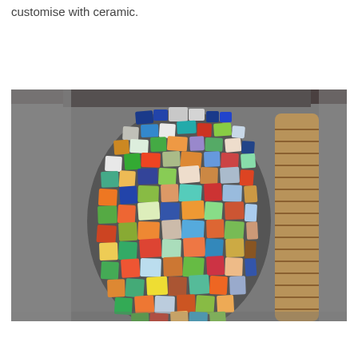customise with ceramic.
[Figure (photo): A large vase or urn covered in a mosaic of colorful ceramic tile pieces in various shapes — blue, green, orange, red, white, yellow, and other colors — photographed against a gray background with a wicker/rope object visible on the right side.]